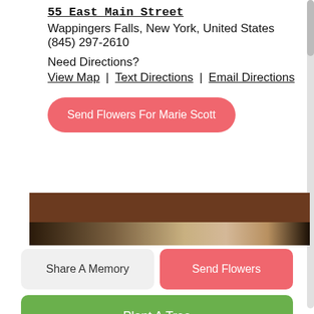55 East Main Street
Wappingers Falls, New York, United States
(845) 297-2610
Need Directions?
View Map | Text Directions | Email Directions
Send Flowers For Marie Scott
[Figure (photo): Partial photo showing a brown band and a blurred face/person in the lower portion]
Share A Memory
Send Flowers
Plant A Tree